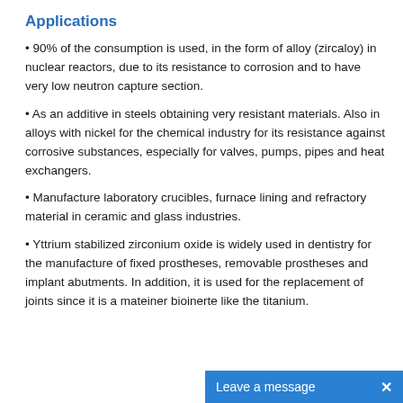Applications
• 90% of the consumption is used, in the form of alloy (zircaloy) in nuclear reactors, due to its resistance to corrosion and to have very low neutron capture section.
• As an additive in steels obtaining very resistant materials. Also in alloys with nickel for the chemical industry for its resistance against corrosive substances, especially for valves, pumps, pipes and heat exchangers.
• Manufacture laboratory crucibles, furnace lining and refractory material in ceramic and glass industries.
• Yttrium stabilized zirconium oxide is widely used in dentistry for the manufacture of fixed prostheses, removable prostheses and implant abutments. In addition, it is used for the replacement of joints since it is a mateiner bioinerte like the titanium.